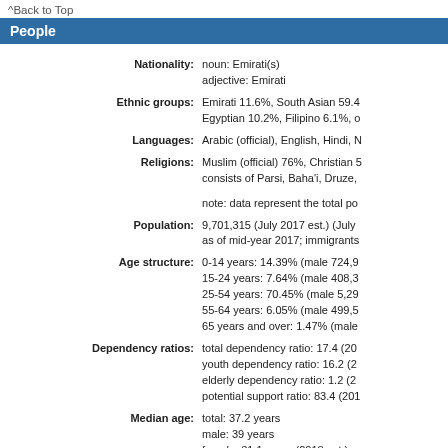^Back to Top
People
| Field | Value |
| --- | --- |
| Nationality: | noun: Emirati(s)
adjective: Emirati |
| Ethnic groups: | Emirati 11.6%, South Asian 59.4%, Egyptian 10.2%, Filipino 6.1%, o |
| Languages: | Arabic (official), English, Hindi, N |
| Religions: | Muslim (official) 76%, Christian 5
consists of Parsi, Baha'i, Druze,
note: data represent the total po |
| Population: | 9,701,315 (July 2017 est.) (July
as of mid-year 2017; immigrants |
| Age structure: | 0-14 years: 14.39% (male 724,9
15-24 years: 7.64% (male 408,3
25-54 years: 70.45% (male 5,29
55-64 years: 6.05% (male 499,5
65 years and over: 1.47% (male |
| Dependency ratios: | total dependency ratio: 17.4 (20
youth dependency ratio: 16.2 (2
elderly dependency ratio: 1.2 (2
potential support ratio: 83.4 (201 |
| Median age: | total: 37.2 years
male: 39 years
female: 31.1 years (2018 est.) |
| Population growth rate: | 1.44% (2018 est.) |
| Birth rate: | 9.8 births/1,000 population (20 |